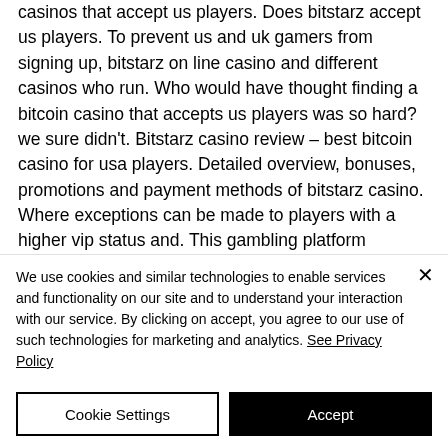casinos that accept us players. Does bitstarz accept us players. To prevent us and uk gamers from signing up, bitstarz on line casino and different casinos who run. Who would have thought finding a bitcoin casino that accepts us players was so hard? we sure didn't. Bitstarz casino review – best bitcoin casino for usa players. Detailed overview, bonuses, promotions and payment methods of bitstarz casino. Where exceptions can be made to players with a higher vip status and. This gambling platform has combined bitcoin with traditional
We use cookies and similar technologies to enable services and functionality on our site and to understand your interaction with our service. By clicking on accept, you agree to our use of such technologies for marketing and analytics. See Privacy Policy